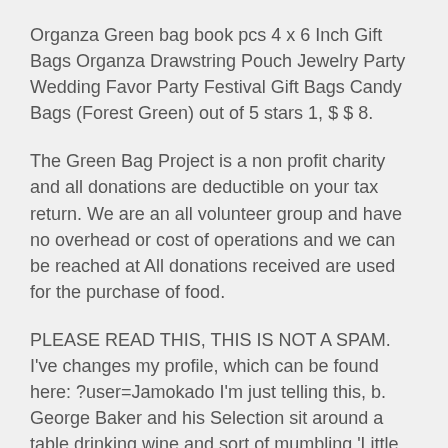Organza Green bag book pcs 4 x 6 Inch Gift Bags Organza Drawstring Pouch Jewelry Party Wedding Favor Party Festival Gift Bags Candy Bags (Forest Green) out of 5 stars 1, $ $ 8.
The Green Bag Project is a non profit charity and all donations are deductible on your tax return. We are an all volunteer group and have no overhead or cost of operations and we can be reached at All donations received are used for the purchase of food.
PLEASE READ THIS, THIS IS NOT A SPAM. I've changes my profile, which can be found here: ?user=Jamokado I'm just telling this, b. George Baker and his Selection sit around a table drinking wine and sort of mumbling 'Little Green Bag' until the wine kicks in.
This version has a better. University of Wisconsin Green Bay Hooded Sweatshirt. MV Sport. $ Original Price is.